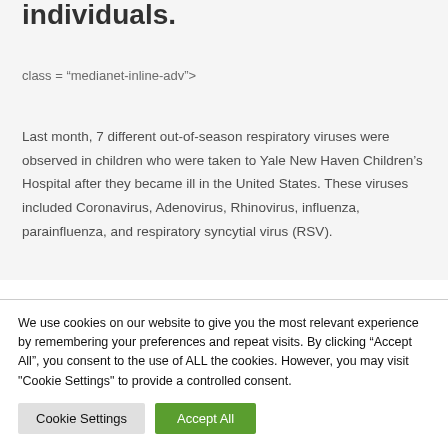individuals.
class = “medianet-inline-adv”>
Last month, 7 different out-of-season respiratory viruses were observed in children who were taken to Yale New Haven Children’s Hospital after they became ill in the United States. These viruses included Coronavirus, Adenovirus, Rhinovirus, influenza, parainfluenza, and respiratory syncytial virus (RSV).
Thomas Murray, a hospital infection control specialist and
We use cookies on our website to give you the most relevant experience by remembering your preferences and repeat visits. By clicking “Accept All”, you consent to the use of ALL the cookies. However, you may visit "Cookie Settings" to provide a controlled consent.